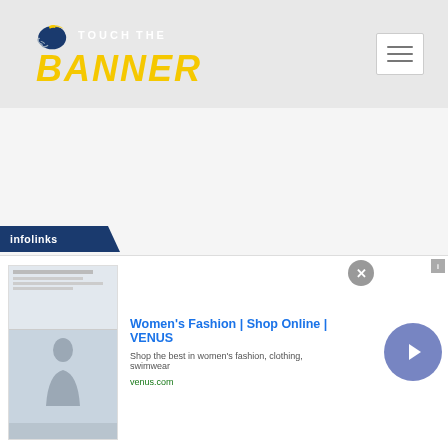[Figure (logo): Touch the Banner logo: football helmet icon with 'TOUCH THE BANNER' text in white and yellow bold italic letters on a light gray header background]
[Figure (screenshot): Infolinks advertisement banner for Women's Fashion | Shop Online | VENUS. Features a thumbnail screenshot of a website, ad title in blue, description text in gray, venus.com URL in green, a close X button, and a blue circle arrow button.]